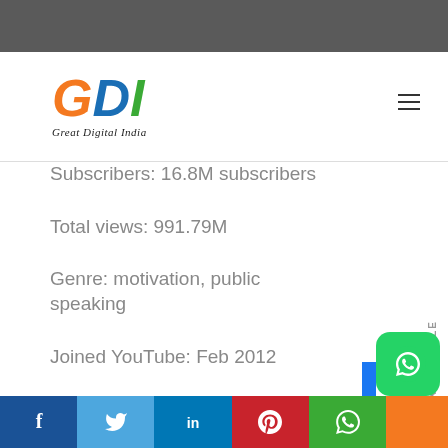[Figure (logo): GDI - Great Digital India logo with orange G, blue D, green I letters]
Subscribers: 16.8M subscribers
Total views: 991.79M
Genre: motivation, public speaking
Joined YouTube: Feb 2012
[Figure (infographic): Social share bar with Facebook, Twitter, LinkedIn, Pinterest, WhatsApp icons]